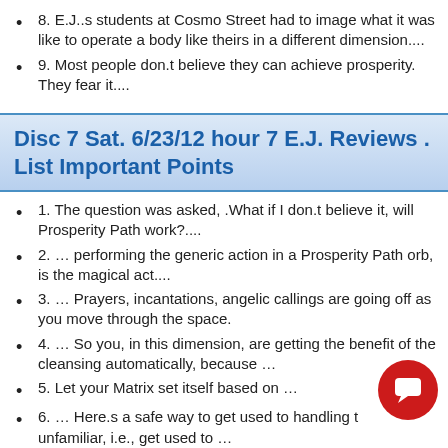8. E.J..s students at Cosmo Street had to image what it was like to operate a body like theirs in a different dimension....
9. Most people don.t believe they can achieve prosperity. They fear it....
Disc 7 Sat. 6/23/12 hour 7 E.J. Reviews . List Important Points
1. The question was asked, .What if I don.t believe it, will Prosperity Path work?....
2. … performing the generic action in a Prosperity Path orb, is the magical act....
3. … Prayers, incantations, angelic callings are going off as you move through the space.
4. … So you, in this dimension, are getting the benefit of the cleansing automatically, because …
5. Let your Matrix set itself based on …
6. … Here.s a safe way to get used to handling the unfamiliar, i.e., get used to …
7. E.J. explains how you can change your relative position